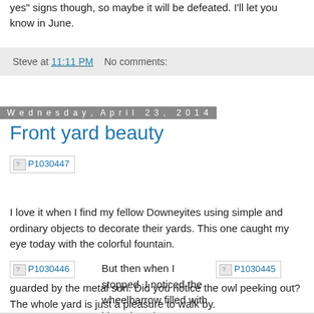yes signs though, so maybe it will be defeated. I'll let you know in June.
Steve at 11:11 PM   No comments:
Wednesday, April 23, 2014
Front yard beauty
[Figure (photo): Placeholder image labeled P1030447]
I love it when I find my fellow Downeyites using simple and ordinary objects to decorate their yards. This one caught my eye today with the colorful fountain.
[Figure (photo): Placeholder image labeled P1030446]
But then when I stopped, I noticed the wheelbarrow filled with blooming plants guarded by the metal sun. Did you notice the owl peeking out? The whole yard is just a pleasure to walk by.
[Figure (photo): Placeholder image labeled P1030445]